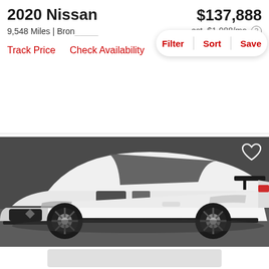2020 Nissan
$137,888
9,548 Miles | Bron...
est. $1,988/mo
Filter | Sort | Save
Track Price   Check Availability
[Figure (photo): White 2020 Nissan GT-R sports car parked in a dark showroom, viewed from a front-three-quarter angle. The car is white with black wheels and black trim details.]
[Figure (other): Light gray placeholder card at the bottom of the page.]